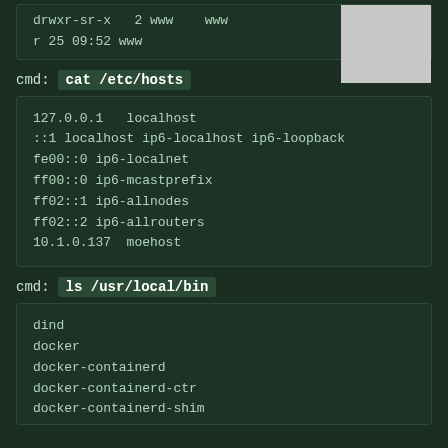[Figure (screenshot): Terminal output showing directory listing with drwxr-sr-x permissions, owner www, group www, size 4096, with a redacted/grey box in the top right corner. Lines: 'drwxr-sr-x   2 www   www   4096' and 'r 25 09:52 www']
cmd: cat /etc/hosts
[Figure (screenshot): Terminal output of /etc/hosts file showing: 127.0.0.1   localhost, ::1 localhost ip6-localhost ip6-loopback, fe00::0 ip6-localnet, ff00::0 ip6-mcastprefix, ff02::1 ip6-allnodes, ff02::2 ip6-allrouters, 10.1.0.137  moehost]
cmd: ls /usr/local/bin
[Figure (screenshot): Terminal output of ls /usr/local/bin showing: dind, docker, docker-containerd, docker-containerd-ctr, docker-containerd-shim (partially visible)]